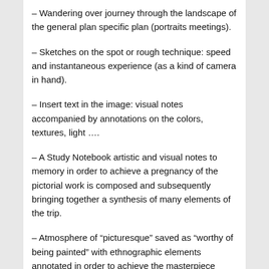– Wandering over journey through the landscape of the general plan specific plan (portraits meetings).
– Sketches on the spot or rough technique: speed and instantaneous experience (as a kind of camera in hand).
– Insert text in the image: visual notes accompanied by annotations on the colors, textures, light ….
– A Study Notebook artistic and visual notes to memory in order to achieve a pregnancy of the pictorial work is composed and subsequently bringing together a synthesis of many elements of the trip.
– Atmosphere of “picturesque” saved as “worthy of being painted” with ethnographic elements annotated in order to achieve the masterpiece painting workshop at a later return trip.
– Notes written on visual details: colors, decoration details, reasons, information on the sketch book is a